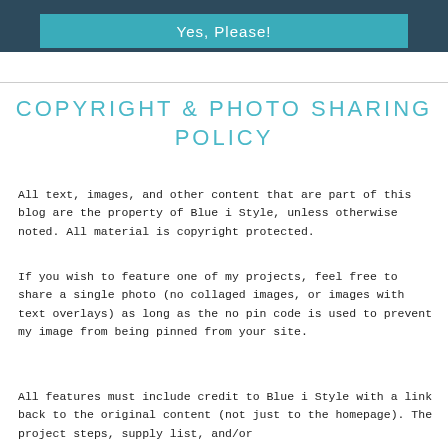[Figure (other): Dark teal banner with teal button reading 'Yes, Please!']
COPYRIGHT & PHOTO SHARING POLICY
All text, images, and other content that are part of this blog are the property of Blue i Style, unless otherwise noted. All material is copyright protected.
If you wish to feature one of my projects, feel free to share a single photo (no collaged images, or images with text overlays) as long as the no pin code is used to prevent my image from being pinned from your site.
All features must include credit to Blue i Style with a link back to the original content (not just to the homepage). The project steps, supply list, and/or